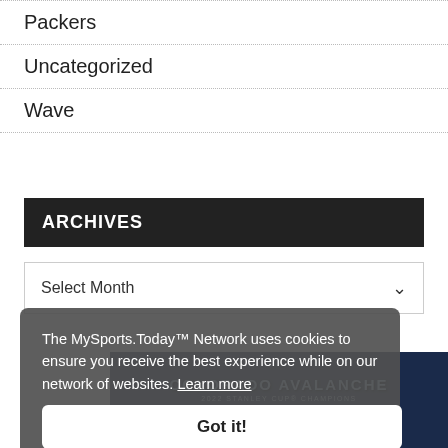Packers
Uncategorized
Wave
ARCHIVES
Select Month
The MySports.Today™ Network uses cookies to ensure you receive the best experience while on our network of websites. Learn more
Got it!
[Figure (photo): Colorado Avalanche 2022 Stanley Cup Champions promotional image with dark blue background]